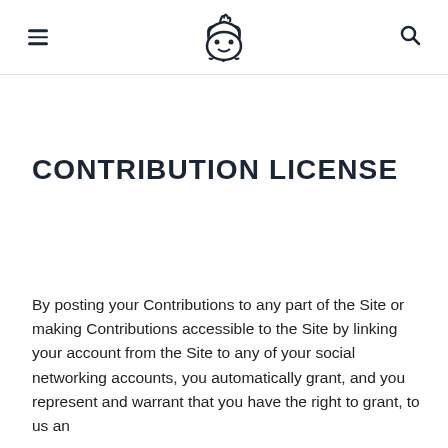[navigation header with hamburger menu, logo, and search icon]
CONTRIBUTION LICENSE
By posting your Contributions to any part of the Site or making Contributions accessible to the Site by linking your account from the Site to any of your social networking accounts, you automatically grant, and you represent and warrant that you have the right to grant, to us an